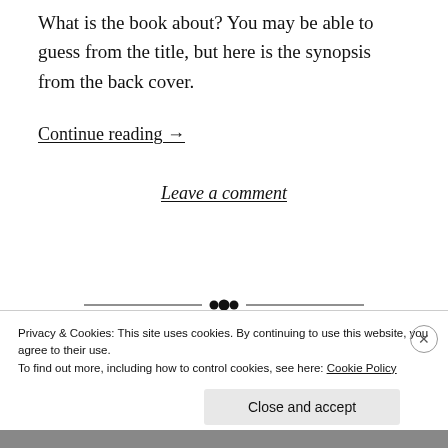What is the book about? You may be able to guess from the title, but here is the synopsis from the back cover.
Continue reading →
Leave a comment
[Figure (other): Decorative horizontal divider with ornamental dots in the center]
Privacy & Cookies: This site uses cookies. By continuing to use this website, you agree to their use.
To find out more, including how to control cookies, see here: Cookie Policy
Close and accept